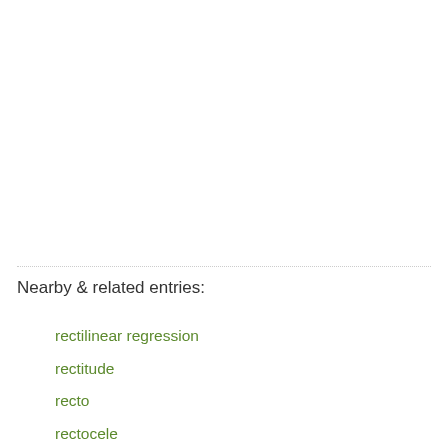Nearby & related entries:
rectilinear regression
rectitude
recto
rectocele
rectoplasty